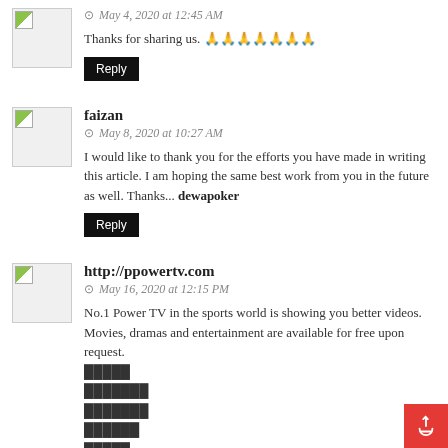May 4, 2020 at 12:45 AM
Thanks for sharing us. 🙏🙏🙏🙏🙏🙏🙏
Reply
faizan
May 8, 2020 at 10:27 AM
I would like to thank you for the efforts you have made in writing this article. I am hoping the same best work from you in the future as well. Thanks... dewapoker
Reply
http://ppowertv.com
May 16, 2020 at 12:15 PM
No.1 Power TV in the sports world is showing you better videos. Movies, dramas and entertainment are available for free upon request.
□□□□□
□□□□□□□
□□□□□□□
□□□□□□
□□□□□